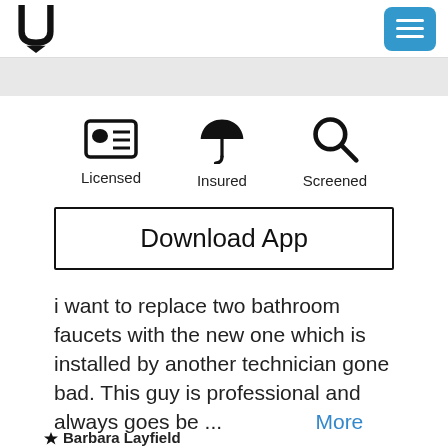[Figure (logo): U-shaped logo mark in black]
[Figure (other): Hamburger menu button (three horizontal lines) on blue rounded rectangle background]
[Figure (infographic): Three icons in a row: Licensed (ID card icon), Insured (umbrella icon), Screened (magnifying glass icon), each with label below]
Download App
i want to replace two bathroom faucets with the new one which is installed by another technician gone bad. This guy is professional and always goes be ... More
Barbara Layfield